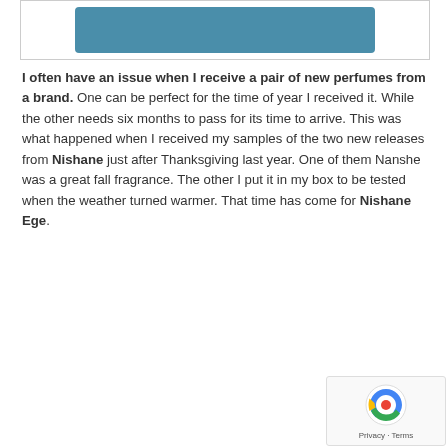[Figure (illustration): A teal/blue rectangular shape inside a bordered container, cropped at top of page]
I often have an issue when I receive a pair of new perfumes from a brand. One can be perfect for the time of year I received it. While the other needs six months to pass for its time to arrive. This was what happened when I received my samples of the two new releases from Nishane just after Thanksgiving last year. One of them Nanshe was a great fall fragrance. The other I put it in my box to be tested when the weather turned warmer. That time has come for Nishane Ege.